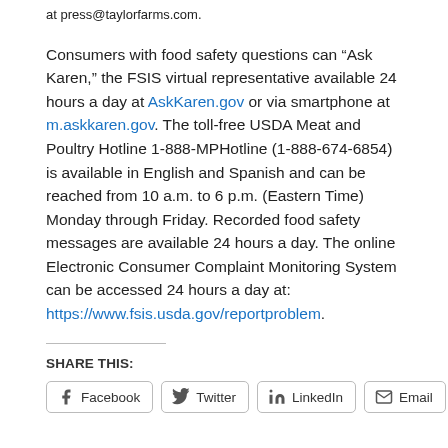at press@taylorfarms.com.
Consumers with food safety questions can “Ask Karen,” the FSIS virtual representative available 24 hours a day at AskKaren.gov or via smartphone at m.askkaren.gov. The toll-free USDA Meat and Poultry Hotline 1-888-MPHotline (1-888-674-6854) is available in English and Spanish and can be reached from 10 a.m. to 6 p.m. (Eastern Time) Monday through Friday. Recorded food safety messages are available 24 hours a day. The online Electronic Consumer Complaint Monitoring System can be accessed 24 hours a day at: https://www.fsis.usda.gov/reportproblem.
SHARE THIS:
Facebook  Twitter  LinkedIn  Email  Print